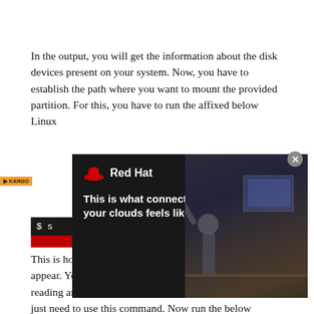In the output, you will get the information about the disk devices present on your system. Now, you have to establish the path where you want to mount the provided partition. For this, you have to run the affixed below Linux
[Figure (screenshot): Red Hat advertisement overlay showing Red Hat logo and tagline 'This is what connecting your clouds feels like' with a dark background image of a person at a computer desk with raised arm]
This is how the most simple mount command might appear. Your NTFS partition should be mounted with reading and write privileges. Most users will generally just need to use this command. Now run the below instruction in a terminal of the Ubuntu 20.04 Linux system.